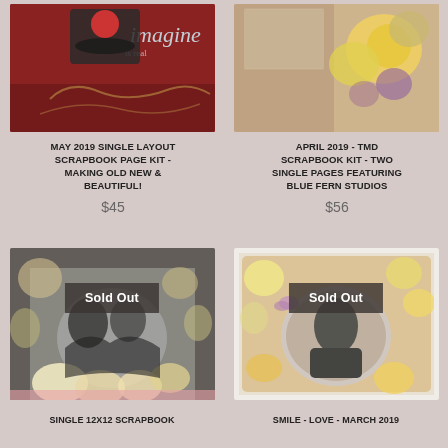[Figure (photo): Scrapbook page kit product photo - red background with 'imagine' text and floral elements]
[Figure (photo): Scrapbook page kit product photo - floral arrangement with yellow and purple flowers]
MAY 2019 SINGLE LAYOUT SCRAPBOOK PAGE KIT - MAKING OLD NEW & BEAUTIFUL!
$45
APRIL 2019 - TMD SCRAPBOOK KIT - TWO SINGLE PAGES FEATURING BLUE FERN STUDIOS
$56
[Figure (photo): Sold Out - Single 12x12 scrapbook page with black and white photo of two women smiling, surrounded by cream and pink flowers]
[Figure (photo): Sold Out - Smile Love March 2019 scrapbook page with oval frame, woman with glasses photo, peach floral background]
SINGLE 12X12 SCRAPBOOK
SMILE - LOVE - MARCH 2019